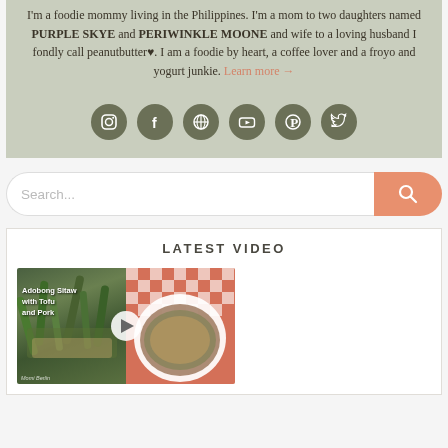I'm a foodie mommy living in the Philippines. I'm a mom to two daughters named PURPLE SKYE and PERIWINKLE MOONE and wife to a loving husband I fondly call peanutbutter♥. I am a foodie by heart, a coffee lover and a froyo and yogurt junkie. Learn more →
[Figure (other): Row of 6 circular dark olive-green social media icon buttons: Instagram, Facebook, WordPress, YouTube, Pinterest, Twitter]
[Figure (other): Search bar with placeholder text 'Search...' and a salmon/coral colored search button with magnifying glass icon]
LATEST VIDEO
[Figure (screenshot): Video thumbnail showing 'Adobong Sitaw with Tofu and Pork' — left half shows green beans, right half shows the cooked dish in a white bowl on a red checkered tablecloth, with a play button overlay in the center]